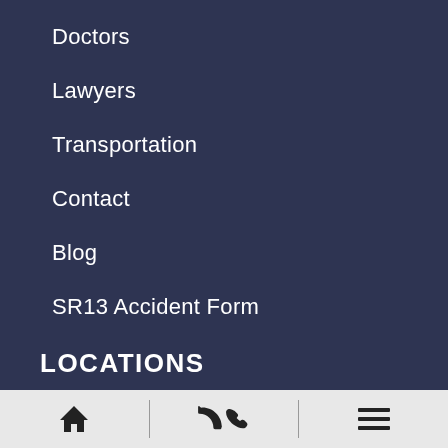Doctors
Lawyers
Transportation
Contact
Blog
SR13 Accident Form
LOCATIONS
Athens
College Park
Lawrenceville
Lithia
Home | Phone | Menu